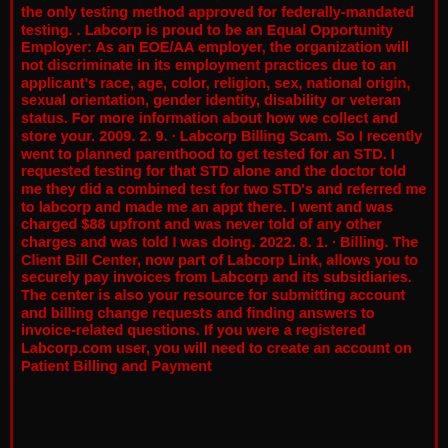the only testing method approved for federally-mandated testing. . Labcorp is proud to be an Equal Opportunity Employer: As an EOE/AA employer, the organization will not discriminate in its employment practices due to an applicant's race, age, color, religion, sex, national origin, sexual orientation, gender identity, disability or veteran status. For more information about how we collect and store your. 2009. 2. 9. · Labcorp Billing Scam. So I recently went to planned parenthood to get tested for an STD. I requested testing for that STD alone and the doctor told me they did a combined test for two STD's and referred me to labcorp and made me an appt there. I went and was charged $88 upfront and was never told of any other charges and was told I was doing. 2022. 8. 1. · Billing. The Client Bill Center, now part of Labcorp Link, allows you to securely pay invoices from Labcorp and its subsidiaries. The center is also your resource for submitting account and billing change requests and finding answers to invoice-related questions. If you were a registered Labcorp.com user, you will need to create an account on Patient Billing and Payment